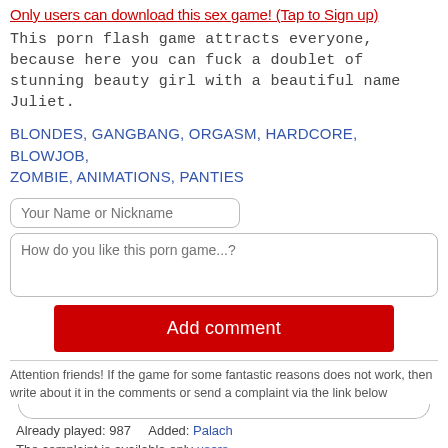Only users can download this sex game! (Tap to Sign up)
This porn flash game attracts everyone, because here you can fuck a doublet of stunning beauty girl with a beautiful name Juliet.
BLONDES, GANGBANG, ORGASM, HARDCORE, BLOWJOB, ZOMBIE, ANIMATIONS, PANTIES
Your Name or Nickname
How do you like this porn game...?
Add comment
Attention friends! If the game for some fantastic reasons does not work, then write about it in the comments or send a complaint via the link below
Already played: 987   Added: Palach
The complaint is available only users